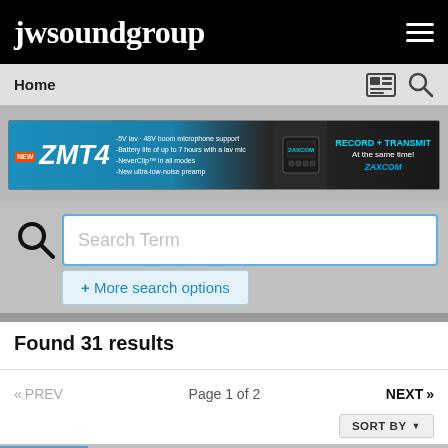jwsoundgroup
Home
[Figure (infographic): Advertisement banner for Zaxcom ZMT4 wireless transmitter. Features 'NEW' badge, ZMT4 logo in large italic text, specs listing: -5V lav · 48V boom microphone support, -Battery life of up to 7 hours with a lav mic, -NeverClip in all modes, -New ultra-low-noise preamp. Right side shows device image, 'RECORD + TRANSMIT At the same time!' text in cyan, and ZAXCOM logo.]
Search Term
+ More search options
Found 31 results
« PREV   Page 1 of 2   NEXT »
SORT BY ▼